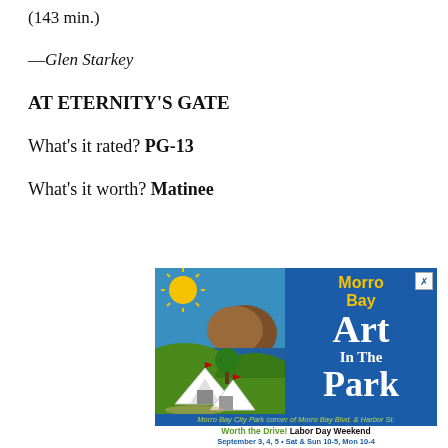(143 min.)
—Glen Starkey
AT ETERNITY'S GATE
What's it rated? PG-13
What's it worth? Matinee
[Figure (illustration): Morro Bay Art In The Park advertisement with illustrated scene of tents, sun, and Morro Rock, with text about Labor Day Weekend event dates.]